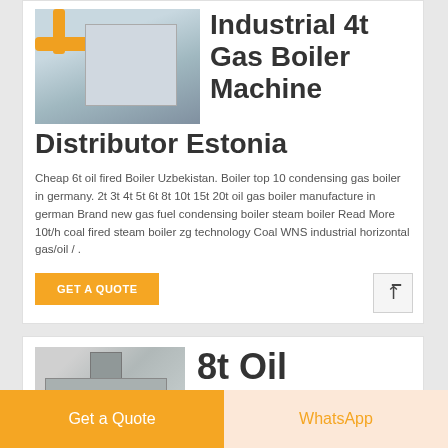[Figure (photo): Industrial gas boiler machine with yellow pipes in a factory setting]
Industrial 4t Gas Boiler Machine Distributor Estonia
Cheap 6t oil fired Boiler Uzbekistan. Boiler top 10 condensing gas boiler in germany. 2t 3t 4t 5t 6t 8t 10t 15t 20t oil gas boiler manufacture in german Brand new gas fuel condensing boiler steam boiler Read More 10t/h coal fired steam boiler zg technology Coal WNS industrial horizontal gas/oil / .
GET A QUOTE
[Figure (photo): Industrial oil boiler machine, grayscale, in a warehouse]
8t Oil
Get a Quote
WhatsApp